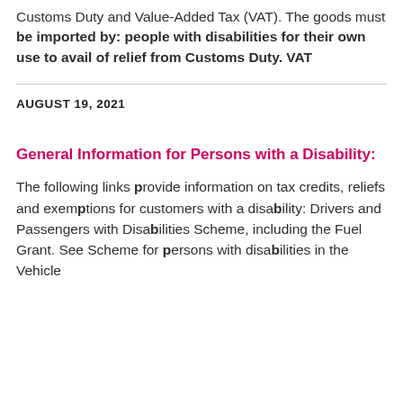Customs Duty and Value-Added Tax (VAT). The goods must be imported by: people with disabilities for their own use to avail of relief from Customs Duty. VAT
AUGUST 19, 2021
General Information for Persons with a Disability:
The following links provide information on tax credits, reliefs and exemptions for customers with a disability: Drivers and Passengers with Disabilities Scheme, including the Fuel Grant. See Scheme for persons with disabilities in the Vehicle